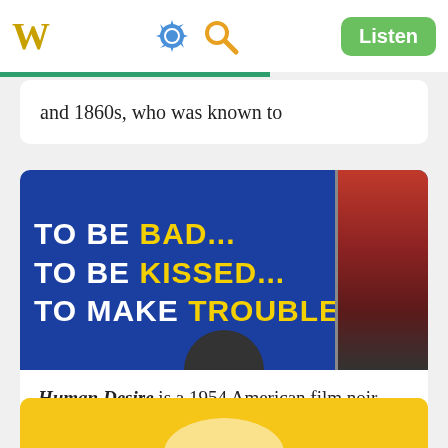W  [gear icon] [search icon]  Listen
and 1860s, who was known to
[Figure (photo): Movie poster for 'Human Desire' (1954) with blue background and bold text: 'TO BE BAD... TO BE KISSED... TO MAKE TROUBLE!' with yellow highlighted words and a figure on the right side]
Human Desire is a 1954 American film noir drama film directed by Fritz Lang and starring Glenn Ford, Gloria Grahame and